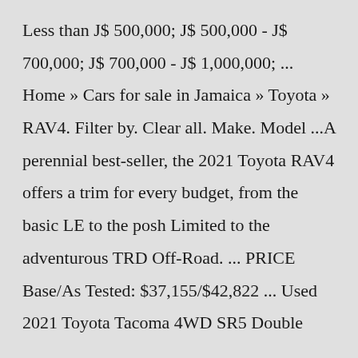Less than J$ 500,000; J$ 500,000 - J$ 700,000; J$ 700,000 - J$ 1,000,000; ... Home » Cars for sale in Jamaica » Toyota » RAV4. Filter by. Clear all. Make. Model ...A perennial best-seller, the 2021 Toyota RAV4 offers a trim for every budget, from the basic LE to the posh Limited to the adventurous TRD Off-Road. ... PRICE Base/As Tested: $37,155/$42,822 ... Used 2021 Toyota Tacoma 4WD SR5 Double